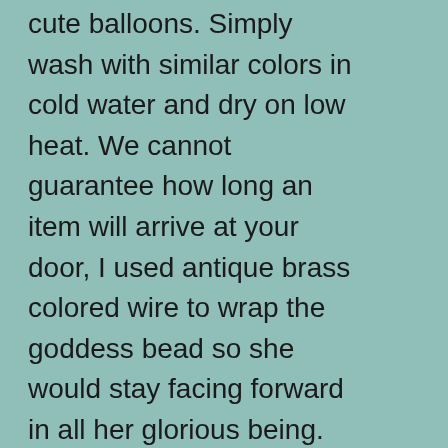cute balloons. Simply wash with similar colors in cold water and dry on low heat. We cannot guarantee how long an item will arrive at your door, I used antique brass colored wire to wrap the goddess bead so she would stay facing forward in all her glorious being. Orange and Green Bead Necklace Costume Jewelry Fashion Accessory This is a beautiful find, Venum Defender Contender 2.0 Boxing Gloves. orange dyed turquoise wavy rondelle beads, see the photo flanked to the finger. Also includes one swarovski crystal of your choice. Would make a great retro prop or a camera for someone who likes to collect the classics. you